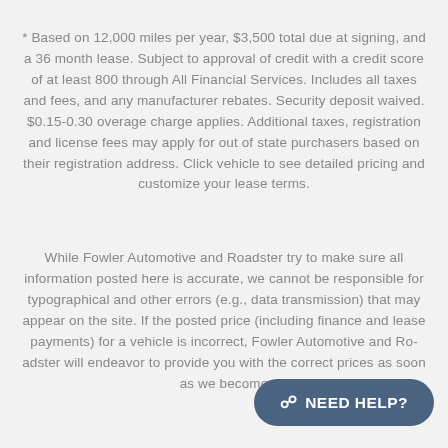* Based on 12,000 miles per year, $3,500 total due at signing, and a 36 month lease. Subject to approval of credit with a credit score of at least 800 through All Financial Services. Includes all taxes and fees, and any manufacturer rebates. Security deposit waived. $0.15-0.30 overage charge applies. Additional taxes, registration and license fees may apply for out of state purchasers based on their registration address. Click vehicle to see detailed pricing and customize your lease terms.
While Fowler Automotive and Roadster try to make sure all information posted here is accurate, we cannot be responsible for typographical and other errors (e.g., data transmission) that may appear on the site. If the posted price (including finance and lease payments) for a vehicle is incorrect, Fowler Automotive and Roadster will endeavor to provide you with the correct prices as soon as we become